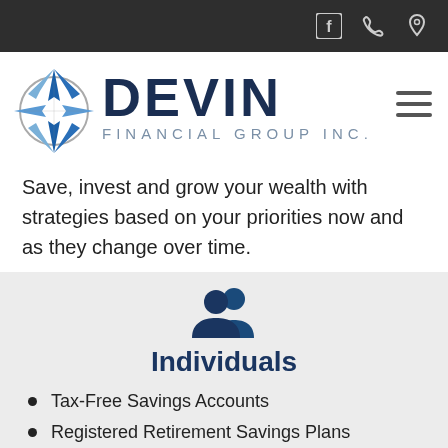Devin Financial Group Inc. — navigation bar with Facebook, phone, and location icons
[Figure (logo): Devin Financial Group Inc. logo with compass star icon and text DEVIN FINANCIAL GROUP INC.]
Save, invest and grow your wealth with strategies based on your priorities now and as they change over time.
[Figure (illustration): Blue people/group icon representing individuals]
Individuals
Tax-Free Savings Accounts
Registered Retirement Savings Plans
Non-Registered Plans
Registered Education Savings Plans
Banking solutions